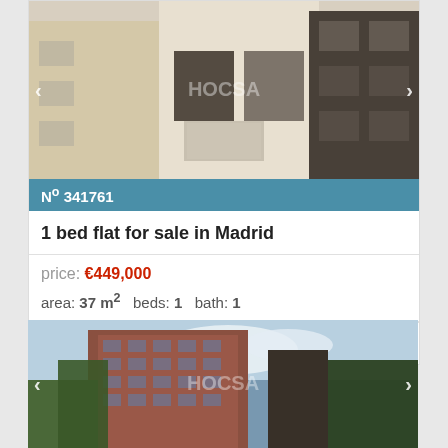[Figure (photo): Exterior photo of a modern residential building with balconies and large windows, rendered architecture view]
Nº 341761
1 bed flat for sale in Madrid
price: €449,000
area: 37 m² beds: 1 bath: 1
See more
Make an Enquiry
[Figure (photo): Exterior photo of a tall red brick apartment building with trees in the foreground and blue sky with clouds]